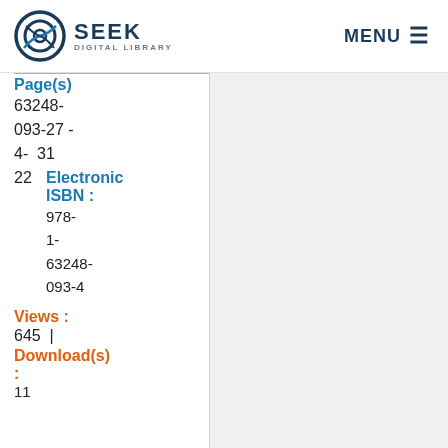SEEK DIGITAL LIBRARY   MENU
Page(s)
63248-093-27 -
4- 31
22   Electronic ISBN : 978-1-63248-093-4
Views : 645 | Download(s) :